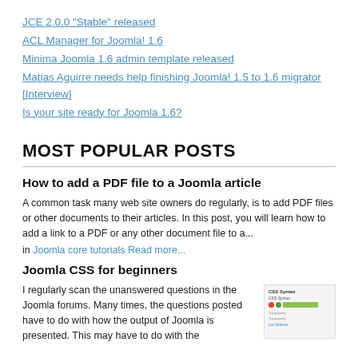JCE 2.0.0 "Stable" released
ACL Manager for Joomla! 1.6
Minima Joomla 1.6 admin template released
Matias Aguirre needs help finishing Joomla! 1.5 to 1.6 migrator [Interview]
Is your site ready for Joomla 1.6?
MOST POPULAR POSTS
How to add a PDF file to a Joomla article
A common task many web site owners do regularly, is to add PDF files or other documents to their articles. In this post, you will learn how to add a link to a PDF or any other document file to a...
in Joomla core tutorials Read more...
Joomla CSS for beginners
I regularly scan the unanswered questions in the Joomla forums. Many times, the questions posted have to do with how the output of Joomla is presented. This may have to do with the
[Figure (screenshot): CSS sample screenshot showing a CSS Syntax panel with colored bars and controls]